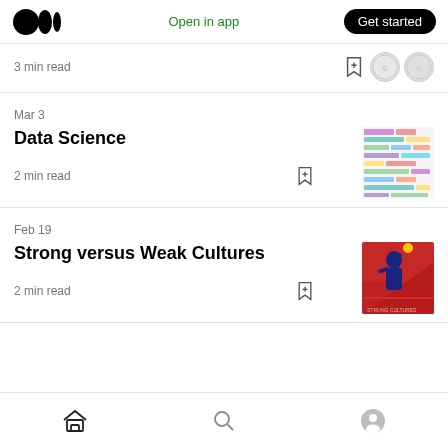Open in app | Get started
3 min read
Mar 3
Data Science
2 min read
Feb 19
Strong versus Weak Cultures
2 min read
Home | Search | Profile